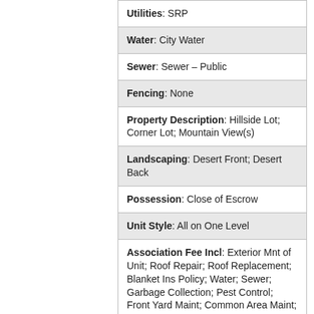| Utilities: SRP |
| Water: City Water |
| Sewer: Sewer – Public |
| Fencing: None |
| Property Description: Hillside Lot; Corner Lot; Mountain View(s) |
| Landscaping: Desert Front; Desert Back |
| Possession: Close of Escrow |
| Unit Style: All on One Level |
| Association Fee Incl: Exterior Mnt of Unit; Roof Repair; Roof Replacement; Blanket Ins Policy; Water; Sewer; Garbage Collection; Pest Control; Front Yard Maint; Common Area Maint; Street Maint |
| Assn Rules (Info: Pets OK/Sep Rvw Req) |